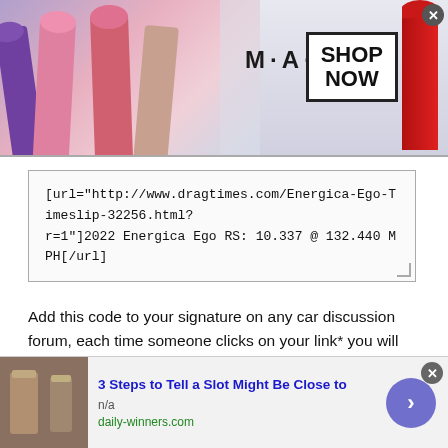[Figure (photo): MAC cosmetics advertisement banner with lipsticks on left side, MAC logo in center, SHOP NOW box, and a red lipstick on the right. Close button in top-right corner.]
[url="http://www.dragtimes.com/Energica-Ego-Timeslip-32256.html?r=1"]2022 Energica Ego RS: 10.337 @ 132.440 MPH[/url]
Add this code to your signature on any car discussion forum, each time someone clicks on your link* you will receive an entry to win a GoPro HERO3 Action Camera.
Number of Votes: 0
[Figure (photo): Bottom advertisement bar: thumbnail image on left, bold blue title '3 Steps to Tell a Slot Might Be Close to', source 'n/a', URL 'daily-winners.com', purple arrow button on right, close button top-right.]